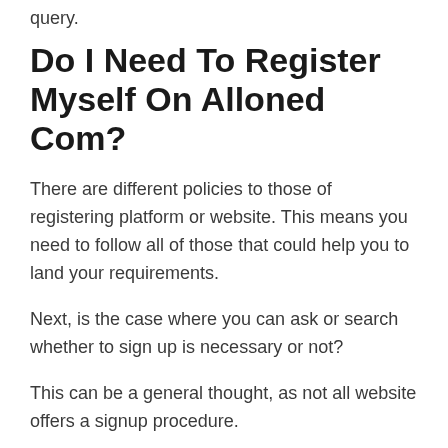query.
Do I Need To Register Myself On Alloned Com?
There are different policies to those of registering platform or website. This means you need to follow all of those that could help you to land your requirements.
Next, is the case where you can ask or search whether to sign up is necessary or not?
This can be a general thought, as not all website offers a signup procedure.
There are many websites that can be easily